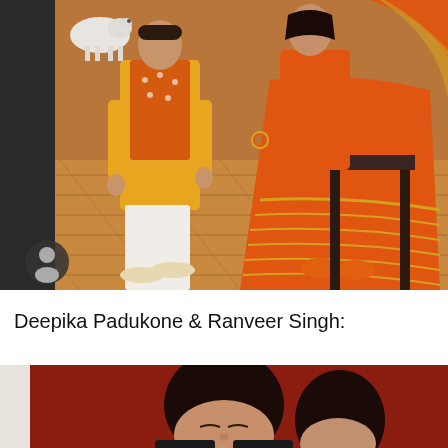[Figure (photo): Photo of two people in orange Indian traditional dress (kurta and anarkali suit) standing on a wooden floor. A small white dog is visible in the background on the left. The woman on the right is seated on a dark chair/bench.]
Deepika Padukone & Ranveer Singh:
[Figure (photo): Partial photo showing a person against a red/dark background, cropped at the bottom of the page.]